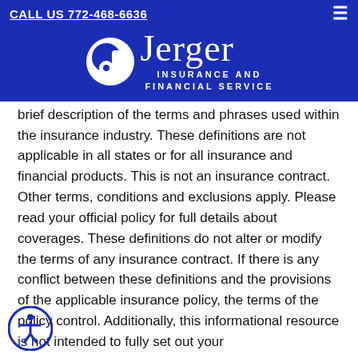CALL US 772-468-6636
[Figure (logo): Jerger Insurance and Financial Service logo — white circular J icon on blue background with company name in white]
brief description of the terms and phrases used within the insurance industry. These definitions are not applicable in all states or for all insurance and financial products. This is not an insurance contract. Other terms, conditions and exclusions apply. Please read your official policy for full details about coverages. These definitions do not alter or modify the terms of any insurance contract. If there is any conflict between these definitions and the provisions of the applicable insurance policy, the terms of the policy control. Additionally, this informational resource is not intended to fully set out your